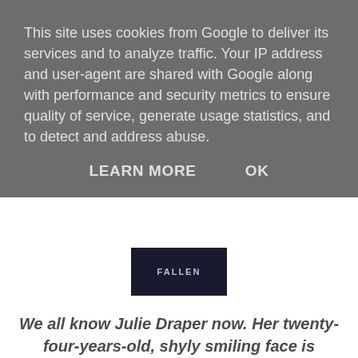This site uses cookies from Google to deliver its services and to analyze traffic. Your IP address and user-agent are shared with Google along with performance and security metrics to ensure quality of service, generate usage statistics, and to detect and address abuse.
LEARN MORE    OK
[Figure (screenshot): Partial book cover image showing text 'FALLEN' or similar on dark background]
We all know Julie Draper now. Her twenty-four-years-old, shyly smiling face is everywhere. Can it really be just nine days since she rushed out of her estate agent's office in south London to show a client around a house, only to vanish into thin air? The hunt for Julie Draper goes on. Only two people know she's already dead. The man who killer her.